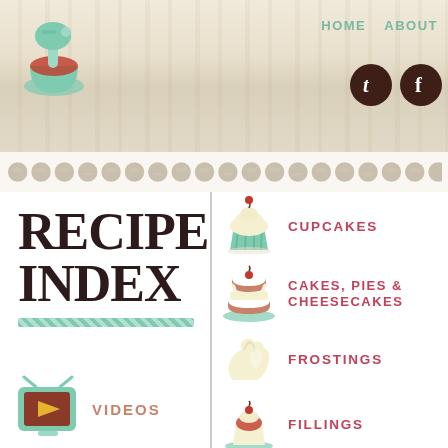HOME   ABOUT
[Figure (illustration): Stand mixer icon in mint green with red bowl]
[Figure (illustration): Twitter and Facebook social media circle icons in dark brown]
[Figure (illustration): Decorative dotted strip row]
RECIPE INDEX
[Figure (illustration): Cupcake icon in mint green and cream]
CUPCAKES
[Figure (illustration): Layered cake icon]
CAKES, PIES & CHEESECAKES
[Figure (illustration): Frosting swirl icon]
FROSTINGS
[Figure (illustration): Cupcake with filling icon]
FILLINGS
[Figure (illustration): Cream swirl icon]
CREAMS &
[Figure (illustration): Retro TV icon with play button]
VIDEOS